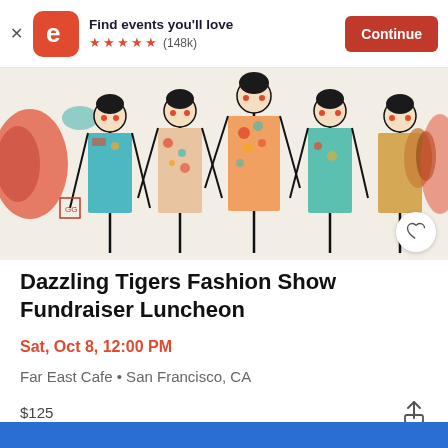Find events you'll love ★★★★★ (148k) Continue
[Figure (illustration): Colorful painting of five stylized women in traditional Chinese-inspired floral and patterned qipao dresses with red dot accessories]
Dazzling Tigers Fashion Show Fundraiser Luncheon
Sat, Oct 8, 12:00 PM
Far East Cafe • San Francisco, CA
$125